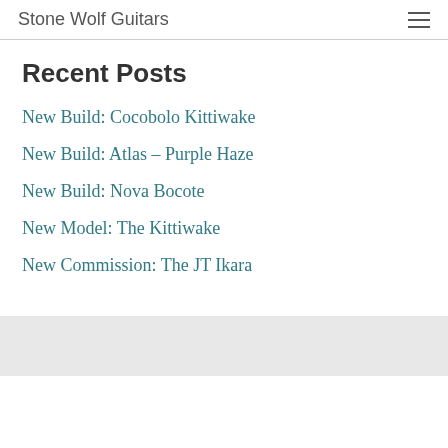Stone Wolf Guitars
Recent Posts
New Build: Cocobolo Kittiwake
New Build: Atlas – Purple Haze
New Build: Nova Bocote
New Model: The Kittiwake
New Commission: The JT Ikara